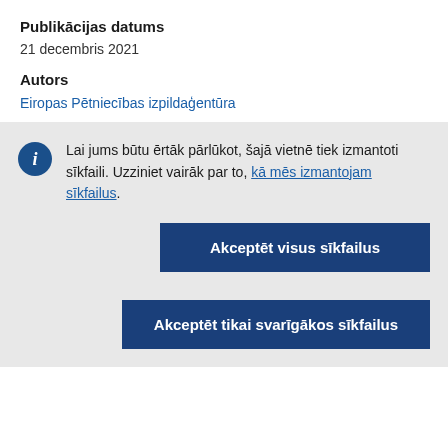Publikācijas datums
21 decembris 2021
Autors
Eiropas Pētniecības izpildaģentūra
Lai jums būtu ērtāk pārlūkot, šajā vietnē tiek izmantoti sīkfaili. Uzziniet vairāk par to, kā mēs izmantojam sīkfailus.
Akceptēt visus sīkfailus
Akceptēt tikai svarīgākos sīkfailus